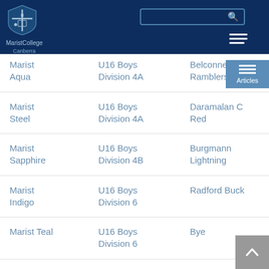[Figure (logo): Marist College Canberra logo and name in header]
| Team | Competition | Opponent |
| --- | --- | --- |
| Marist Aqua | U16 Boys Division 4A | Belconnen Ramblers |
| Marist Steel | U16 Boys Division 4A | Daramalan C Red |
| Marist Sapphire | U16 Boys Division 4B | Burgmann Lightning |
| Marist Indigo | U16 Boys Division 6 | Radford Buck |
| Marist Teal | U16 Boys Division 6 | Bye |